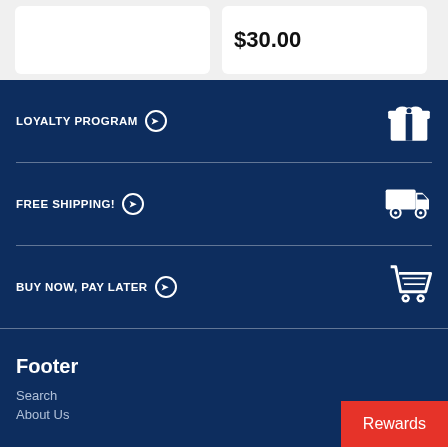$30.00
LOYALTY PROGRAM →
FREE SHIPPING! →
BUY NOW, PAY LATER →
Footer
Search
About Us
Rewards